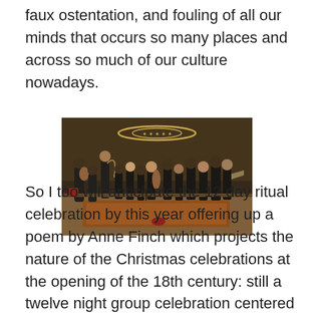faux ostentation, and fouling of all our minds that occurs so many places and across so much of our culture nowadays.
[Figure (photo): A chamber music ensemble performing on stage in a concert hall. Multiple musicians in dark clothing are seated and standing on a wooden stage with a decorative carpet and holiday wreath visible in the background.]
So I too will anticipate the 12 day ritual celebration by this year offering up a poem by Anne Finch which projects the nature of the Christmas celebrations at the opening of the 18th century: still a twelve night group celebration centered on a group of religious and pagan myths.